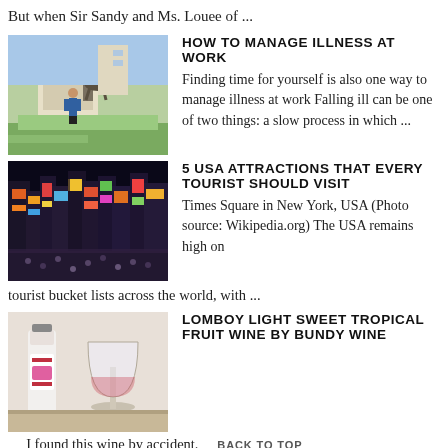But when Sir Sandy and Ms. Louee of ...
HOW TO MANAGE ILLNESS AT WORK
[Figure (photo): Person near a statue outside a building]
Finding time for yourself is also one way to manage illness at work Falling ill can be one of two things: a slow process in which ...
5 USA ATTRACTIONS THAT EVERY TOURIST SHOULD VISIT
[Figure (photo): Times Square in New York City at night with bright lights and crowds]
Times Square in New York, USA (Photo source: Wikipedia.org) The USA remains high on tourist bucket lists across the world, with ...
LOMBOY LIGHT SWEET TROPICAL FRUIT WINE BY BUNDY WINE
[Figure (photo): A bottle and glass of wine]
I found this wine by accident.  BACK TO TOP  out of Davao City Engineer's Office the other day when I saw few make-shift stalls.